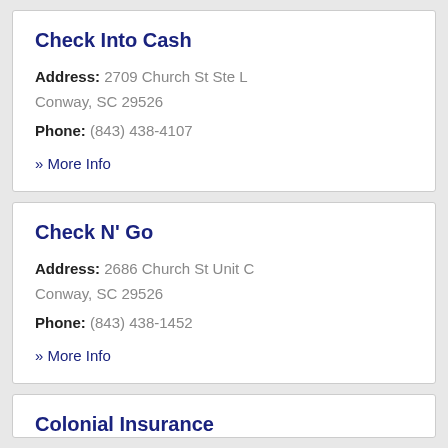Check Into Cash
Address: 2709 Church St Ste L Conway, SC 29526
Phone: (843) 438-4107
» More Info
Check N' Go
Address: 2686 Church St Unit C Conway, SC 29526
Phone: (843) 438-1452
» More Info
Colonial Insurance